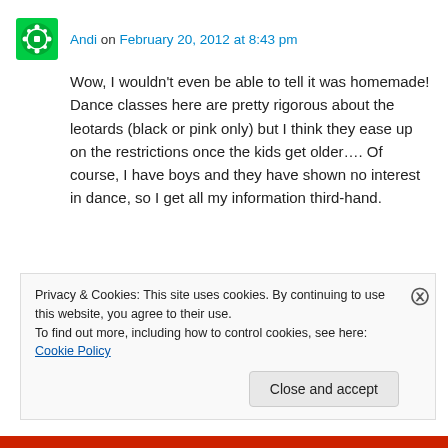Andi on February 20, 2012 at 8:43 pm
Wow, I wouldn't even be able to tell it was homemade! Dance classes here are pretty rigorous about the leotards (black or pink only) but I think they ease up on the restrictions once the kids get older…. Of course, I have boys and they have shown no interest in dance, so I get all my information third-hand.
Privacy & Cookies: This site uses cookies. By continuing to use this website, you agree to their use.
To find out more, including how to control cookies, see here: Cookie Policy